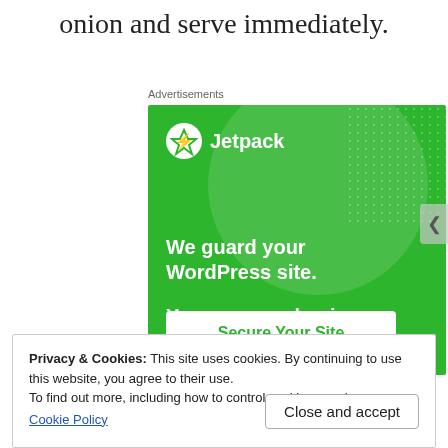onion and serve immediately.
Advertisements
[Figure (screenshot): Jetpack advertisement: green background with Jetpack logo, text 'We guard your WordPress site. You run your business.' and a 'Secure Your Site' button.]
Privacy & Cookies: This site uses cookies. By continuing to use this website, you agree to their use.
To find out more, including how to control cookies, see here:
Cookie Policy
Close and accept